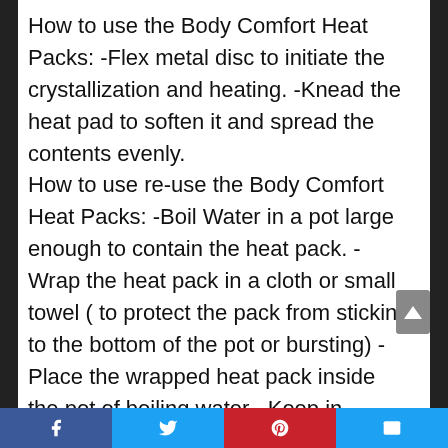How to use the Body Comfort Heat Packs: -Flex metal disc to initiate the crystallization and heating. -Knead the heat pad to soften it and spread the contents evenly. How to use re-use the Body Comfort Heat Packs: -Boil Water in a pot large enough to contain the heat pack. -Wrap the heat pack in a cloth or small towel ( to protect the pack from sticking to the bottom of the pot or bursting) -Place the wrapped heat pack inside the pot of boiling water. -Keep in boiling water until all the crystals are dissolved and only a clear liquid remains. -Do not leave the boiling pot of water unattended. -Use tongs to remove the pack
Share buttons: Facebook, Twitter, Pinterest, Email